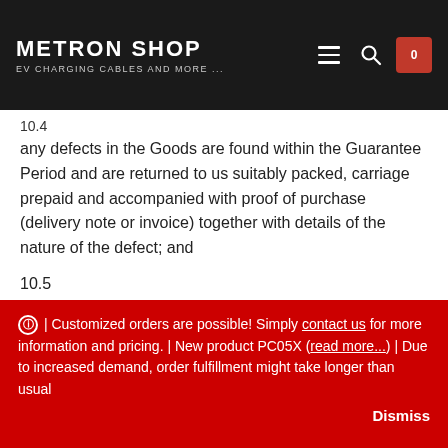METRON SHOP | EV CHARGING CABLES AND MORE ...
any defects in the Goods are found within the Guarantee Period and are returned to us suitably packed, carriage prepaid and accompanied with proof of purchase (delivery note or invoice) together with details of the nature of the defect; and
10.5
examination by us of the Goods in question confirms that the alleged defect has not been caused by misuse, neglect, method of storage, faulty installation, handling, testing or repair, by alteration or accident or by any other cause listed in Clause 10.6 below.
ⓘ | Customized orders are possible! Simply contact us for more information and pricing. | New product PC05X (read more...) | Due to increased demand, order fulfillment might take longer than usual Dismiss